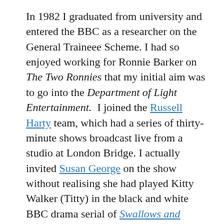In 1982 I graduated from university and entered the BBC as a researcher on the General Traineee Scheme. I had so enjoyed working for Ronnie Barker on The Two Ronnies that my initial aim was to go into the Department of Light Entertainment.  I joined the Russell Harty team, which had a series of thirty-minute shows broadcast live from a studio at London Bridge. I actually invited Susan George on the show without realising she had played Kitty Walker (Titty) in the black and white BBC drama serial of Swallows and Amazons in 1963.  Since The Russell Harty Show ended at the same time as my contract, I started looking around for a programme strand that was right for me.